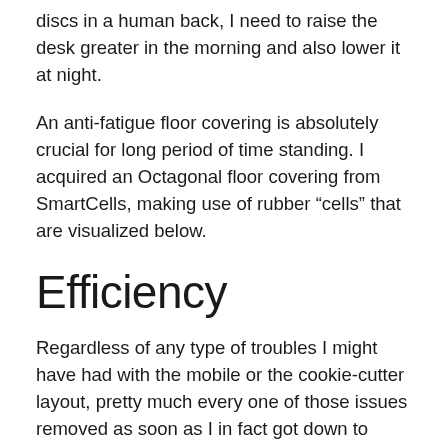discs in a human back, I need to raise the desk greater in the morning and also lower it at night.
An anti-fatigue floor covering is absolutely crucial for long period of time standing. I acquired an Octagonal floor covering from SmartCells, making use of rubber “cells” that are visualized below.
Efficiency
Regardless of any type of troubles I might have had with the mobile or the cookie-cutter layout, pretty much every one of those issues removed as soon as I in fact got down to utilizing this point.